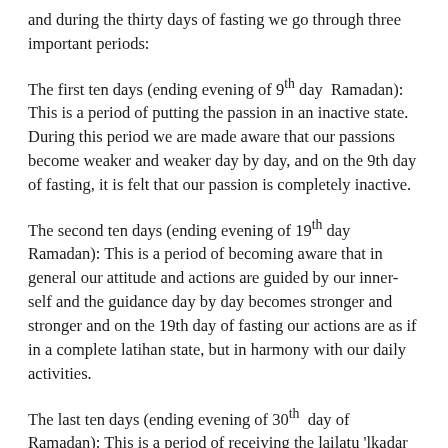and during the thirty days of fasting we go through three important periods:
The first ten days (ending evening of 9th day Ramadan): This is a period of putting the passion in an inactive state. During this period we are made aware that our passions become weaker and weaker day by day, and on the 9th day of fasting, it is felt that our passion is completely inactive.
The second ten days (ending evening of 19th day Ramadan): This is a period of becoming aware that in general our attitude and actions are guided by our inner-self and the guidance day by day becomes stronger and stronger and on the 19th day of fasting our actions are as if in a complete latihan state, but in harmony with our daily activities.
The last ten days (ending evening of 30th day of Ramadan): This is a period of receiving the lailatu 'lkadar (the Nights of Power), and this is sent by God on the 21st, 23rd, 25th, 27th